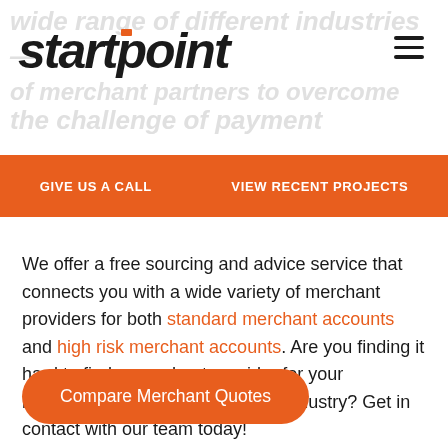startpoint
GIVE US A CALL   VIEW RECENT PROJECTS
We offer a free sourcing and advice service that connects you with a wide variety of merchant providers for both standard merchant accounts and high risk merchant accounts. Are you finding it hard to find a merchant provider for your business? Operate in a high risk industry? Get in contact with our team today!
Compare Merchant Quotes